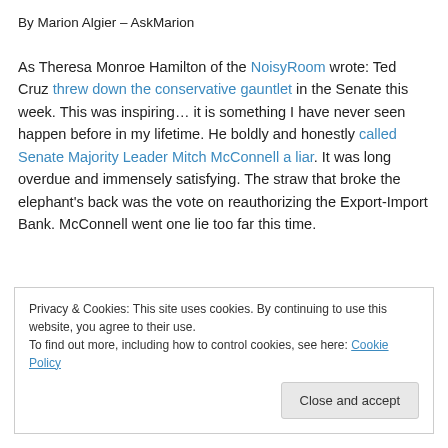By Marion Algier – AskMarion
As Theresa Monroe Hamilton of the NoisyRoom wrote: Ted Cruz threw down the conservative gauntlet in the Senate this week. This was inspiring… it is something I have never seen happen before in my lifetime. He boldly and honestly called Senate Majority Leader Mitch McConnell a liar. It was long overdue and immensely satisfying. The straw that broke the elephant's back was the vote on reauthorizing the Export-Import Bank. McConnell went one lie too far this time.
Privacy & Cookies: This site uses cookies. By continuing to use this website, you agree to their use.
To find out more, including how to control cookies, see here: Cookie Policy
Close and accept